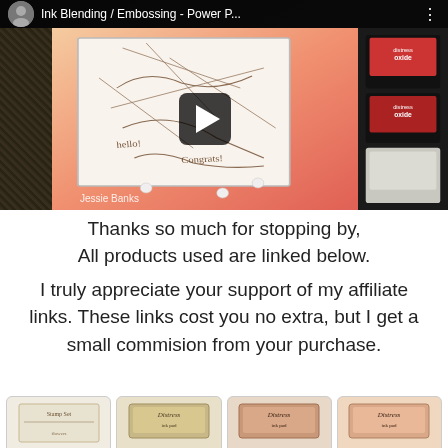[Figure (screenshot): YouTube video thumbnail showing 'Ink Blending / Embossing - Power P...' with a crafting card featuring ink blending in pink/peach tones, a play button overlay, ink pads visible on the right, channel avatar and title in the top bar, and 'Jessie Banks' credit at the bottom.]
Thanks so much for stopping by,
All products used are linked below.
I truly appreciate your support of my affiliate links. These links cost you no extra, but I get a small commision from your purchase.
[Figure (photo): Row of four product thumbnail images at the bottom: a stamp set and three Distress ink pad products.]